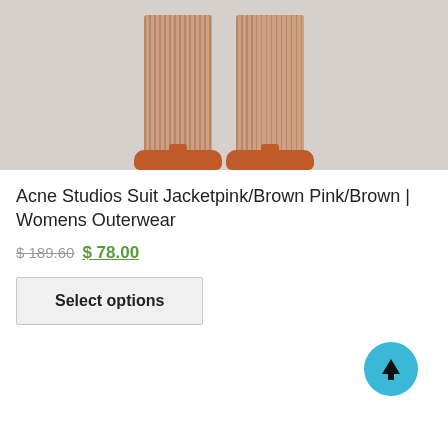[Figure (photo): Close-up photo of a person wearing pink/brown corduroy wide-leg pants with orange sandals against a light grey background]
Acne Studios Suit Jacketpink/Brown Pink/Brown | Womens Outerwear
$ 189.60 $ 78.00
Select options